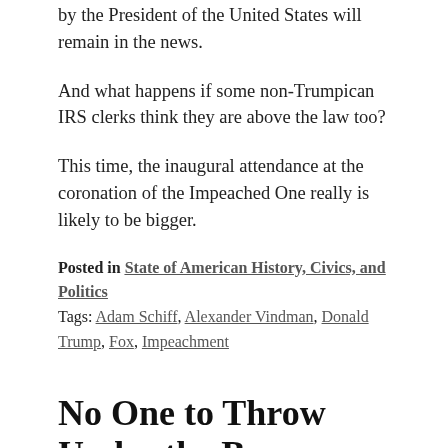by the President of the United States will remain in the news.
And what happens if some non-Trumpican IRS clerks think they are above the law too?
This time, the inaugural attendance at the coronation of the Impeached One really is likely to be bigger.
Posted in State of American History, Civics, and Politics
Tags: Adam Schiff, Alexander Vindman, Donald Trump, Fox, Impeachment
No One to Throw Under the Bus
November 12, 2019
by Peter Feinman